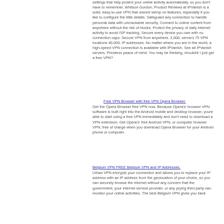settings that help protect your online activity automatically, so you don't have to remember. Whitson Gordon, Product Reviews at IPVanish is a solid, easy-to-use VPN that doesnt skimp on features, especially if you like to configure the little details. Safeguard any connection to handle personal data with uncrackable security. Connect to online content from anywhere without the risk of blocks. Protect the privacy of daily internet activity to avoid ISP tracking. Secure every device you own with no connection caps. Secure VPN from anywhere. 2,000, servers 75 VPN locations 40,000, IP addresses. No matter where you are in the world, a high-speed VPN connection is available with IPVanish. See all IPVanish servers. Priceless peace of mind. You may be thinking, shouldnt I just get a free VPN?
Free VPN Browser with free VPN Opera Browser.
Get the Opera Browser free VPN now. Because Opera's' browser VPN software is built right into the Android mobile and desktop browser, youre able to start using a free VPN immediately and don't need to download a VPN extension. Get Opera's' free Android VPN, or computer browser VPN, free of charge when you download Opera Browser for your Android phone or computer.
Belgium VPN FREE Belgium VPN and IP Addresses.
Urban VPN encrypts your connection and allows you to replace your IP address with an IP address from the geolocation of your choice, so you can securely browse the internet without any concern that the government, your internet service provider, or any prying third party can monitor your online activities. The best Belgium VPN gives you back